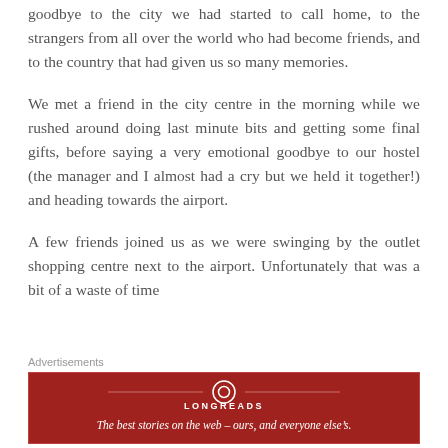goodbye to the city we had started to call home, to the strangers from all over the world who had become friends, and to the country that had given us so many memories.
We met a friend in the city centre in the morning while we rushed around doing last minute bits and getting some final gifts, before saying a very emotional goodbye to our hostel (the manager and I almost had a cry but we held it together!) and heading towards the airport.
A few friends joined us as we were swinging by the outlet shopping centre next to the airport. Unfortunately that was a bit of a waste of time
Advertisements
[Figure (logo): Longreads advertisement banner: red background with Longreads logo and tagline 'The best stories on the web — ours, and everyone else's.']